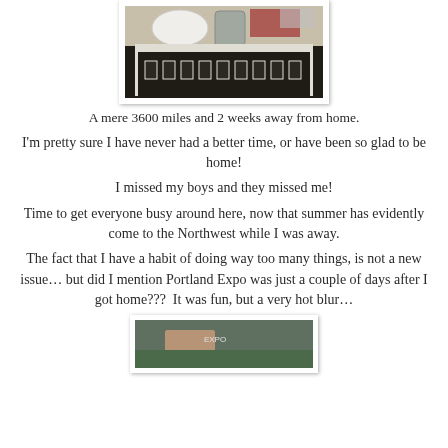[Figure (photo): Photo of a white table/shelf with bowls, flowers, and items on top, viewed from below showing dark shelving.]
A mere 3600 miles and 2 weeks away from home.
I'm pretty sure I have never had a better time, or have been so glad to be home!
I missed my boys and they missed me!
Time to get everyone busy around here, now that summer has evidently come to the Northwest while I was away.
The fact that I have a habit of doing way too many things, is not a new issue… but did I mention Portland Expo was just a couple of days after I got home???  It was fun, but a very hot blur…
[Figure (photo): Partial photo at bottom of page showing a person at what appears to be an expo or indoor event.]